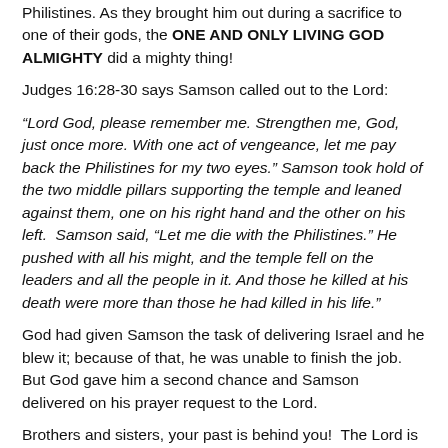Philistines. As they brought him out during a sacrifice to one of their gods, the ONE AND ONLY LIVING GOD ALMIGHTY did a mighty thing!
Judges 16:28-30 says Samson called out to the Lord:
“Lord God, please remember me. Strengthen me, God, just once more. With one act of vengeance, let me pay back the Philistines for my two eyes.” Samson took hold of the two middle pillars supporting the temple and leaned against them, one on his right hand and the other on his left. Samson said, “Let me die with the Philistines.” He pushed with all his might, and the temple fell on the leaders and all the people in it. And those he killed at his death were more than those he had killed in his life.”
God had given Samson the task of delivering Israel and he blew it; because of that, he was unable to finish the job. But God gave him a second chance and Samson delivered on his prayer request to the Lord.
Brothers and sisters, your past is behind you! The Lord is not finished with you. He used a man like Samson who had a checkered past and is not against Him...